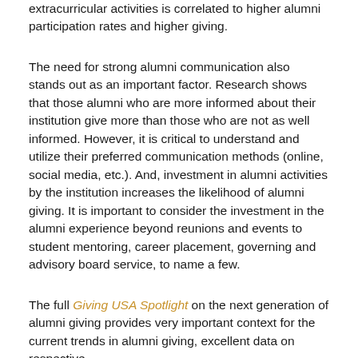extracurricular activities is correlated to higher alumni participation rates and higher giving.
The need for strong alumni communication also stands out as an important factor. Research shows that those alumni who are more informed about their institution give more than those who are not as well informed. However, it is critical to understand and utilize their preferred communication methods (online, social media, etc.). And, investment in alumni activities by the institution increases the likelihood of alumni giving. It is important to consider the investment in the alumni experience beyond reunions and events to student mentoring, career placement, governing and advisory board service, to name a few.
The full Giving USA Spotlight on the next generation of alumni giving provides very important context for the current trends in alumni giving, excellent data on respective